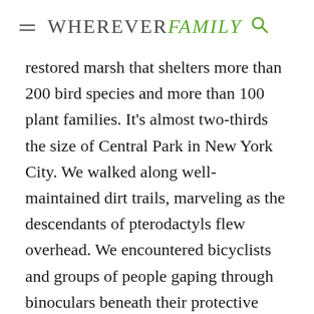WHEREVER FAMILY
restored marsh that shelters more than 200 bird species and more than 100 plant families. It's almost two-thirds the size of Central Park in New York City. We walked along well-maintained dirt trails, marveling as the descendants of pterodactyls flew overhead. We encountered bicyclists and groups of people gaping through binoculars beneath their protective hats. We only had time to see two of the 11